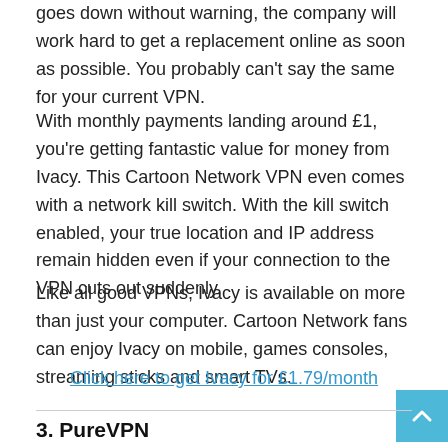goes down without warning, the company will work hard to get a replacement online as soon as possible. You probably can't say the same for your current VPN.
With monthly payments landing around £1, you're getting fantastic value for money from Ivacy. This Cartoon Network VPN even comes with a network kill switch. With the kill switch enabled, your true location and IP address remain hidden even if your connection to the VPN cuts out suddenly.
Like all good VPNs, Ivacy is available on more than just your computer. Cartoon Network fans can enjoy Ivacy on mobile, games consoles, streaming sticks and smart TVs.
Click here to get Ivacy for £1.79/month
3. PureVPN